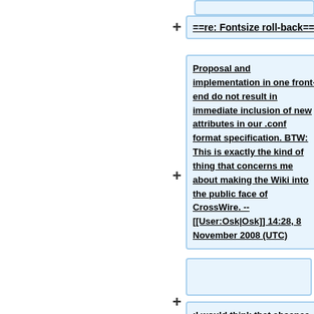==re: Fontsize roll-back==
Proposal and implementation in one front-end do not result in immediate inclusion of new attributes in our .conf format specification. BTW: This is exactly the kind of thing that concerns me about making the Wiki into the public face of CrossWire. --[[User:Osk|Osk]] 14:28, 8 November 2008 (UTC)
:I would think that absence of negative comment (including yours) on the mailing list for several days is something akin